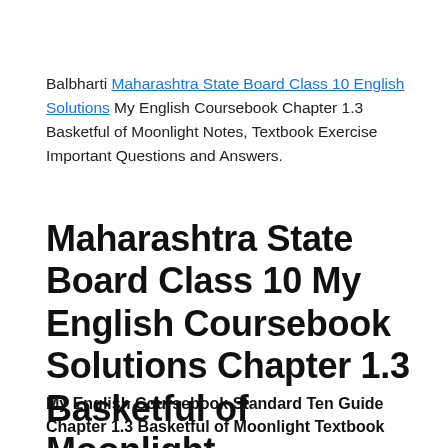Balbharti Maharashtra State Board Class 10 English Solutions My English Coursebook Chapter 1.3 Basketful of Moonlight Notes, Textbook Exercise Important Questions and Answers.
Maharashtra State Board Class 10 My English Coursebook Solutions Chapter 1.3 Basketful of Moonlight
My English Coursebook Standard Ten Guide Chapter 1.3 Basketful of Moonlight Textbook